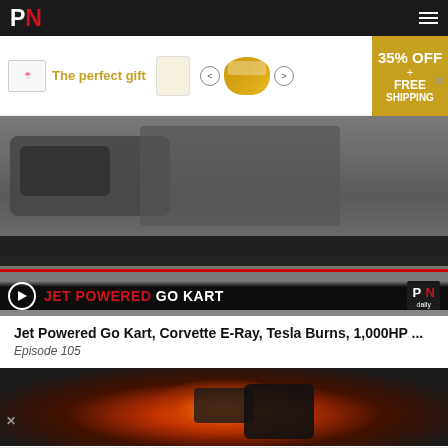PN
[Figure (screenshot): Advertisement banner: The perfect gift - 35% OFF + FREE SHIPPING with navigation arrows and popcorn bowl image]
[Figure (screenshot): Video thumbnail showing jet powered go kart with play button and title overlay reading JET POWERED GO KART with PN daily badge]
Jet Powered Go Kart, Corvette E-Ray, Tesla Burns, 1,000HP ...
Episode 105
[Figure (photo): Image of glowing engine component with orange/red heat glow effect against dark background]
[Figure (screenshot): Advertisement banner bottom: The perfect gift - 35% OFF + FREE SHIPPING with navigation arrows and popcorn bowl image]